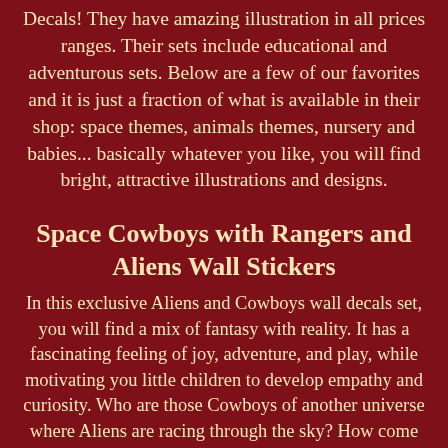Decals! They have amazing illustration in all prices ranges. Their sets include educational and adventurous sets. Below are a few of our favorites and it is just a fraction of what is available in their shop: space themes, animals themes, nursery and babies... basically whatever you like, you will find bright, attractive illustrations and designs.
Space Cowboys with Rangers and Aliens Wall Stickers
In this exclusive Aliens and Cowboys wall decals set, you will find a mix of fantasy with reality. It has a fascinating feeling of joy, adventure, and play, while motivating you little children to develop empathy and curiosity. Who are those Cowboys of another universe where Aliens are racing through the sky? How come they are crossing with each other in a recognizable earth-like landscape? It will help your